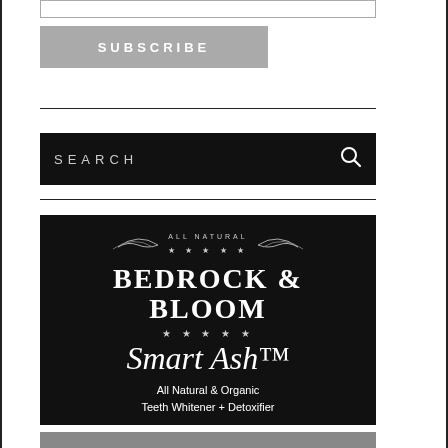[Figure (other): Empty input bar at the top of the sidebar widget]
[Figure (other): Gray SUBSCRIBE button with white uppercase text]
[Figure (other): Black search bar with SEARCH text and magnifying glass icon]
[Figure (other): Bedrock & Bloom Smart Ash advertisement - All Natural & Organic Teeth Whitener + Detoxifier on black background]
[Figure (other): Partially visible second advertisement at bottom]